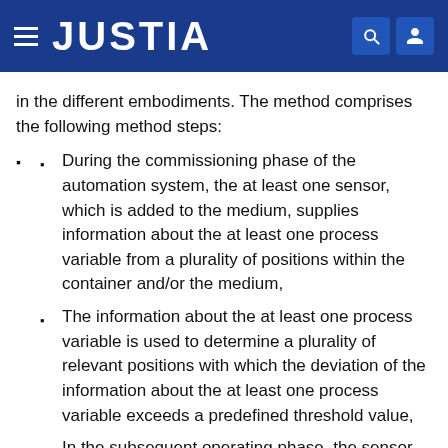JUSTIA
in the different embodiments. The method comprises the following method steps:
During the commissioning phase of the automation system, the at least one sensor, which is added to the medium, supplies information about the at least one process variable from a plurality of positions within the container and/or the medium,
The information about the at least one process variable is used to determine a plurality of relevant positions with which the deviation of the information about the at least one process variable exceeds a predefined threshold value,
In the subsequent operating phase, the sensor preferably moves between the